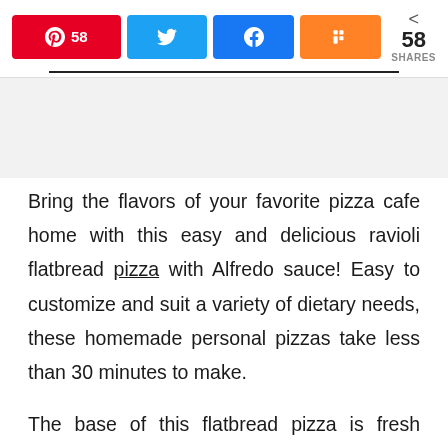[Figure (screenshot): Social share bar with Pinterest (58), Twitter, Facebook, Mix buttons and share count of 58 SHARES]
Bring the flavors of your favorite pizza cafe home with this easy and delicious ravioli flatbread pizza with Alfredo sauce! Easy to customize and suit a variety of dietary needs, these homemade personal pizzas take less than 30 minutes to make.
The base of this flatbread pizza is fresh naan, topped then with pizza sauce, ravioli,